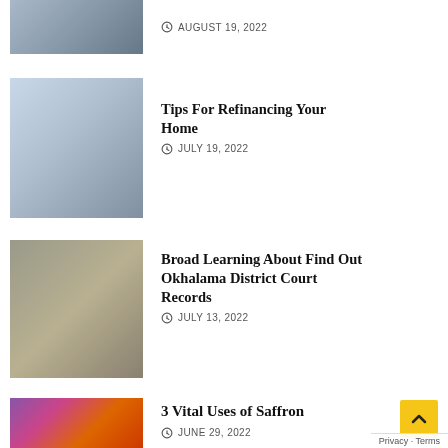[Figure (photo): Partial view of a medical/professional article thumbnail at top of page]
AUGUST 19, 2022
[Figure (photo): Person with house model and calculator, refinancing theme]
Tips For Refinancing Your Home
JULY 19, 2022
[Figure (photo): Lady Justice statue with gavel, court records theme]
Broad Learning About Find Out Okhalama District Court Records
JULY 13, 2022
[Figure (photo): Saffron spice with purple flowers]
3 Vital Uses of Saffron
JUNE 29, 2022